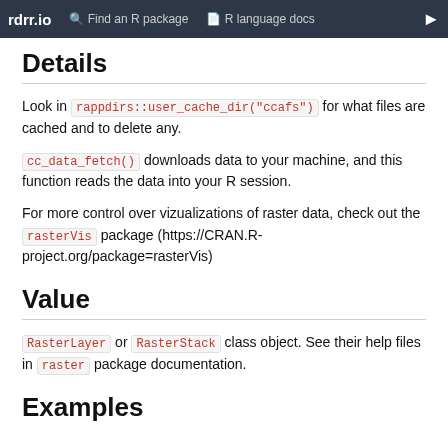rdrr.io   Find an R package   R language docs
Details
Look in rappdirs::user_cache_dir("ccafs") for what files are cached and to delete any.
cc_data_fetch() downloads data to your machine, and this function reads the data into your R session.
For more control over vizualizations of raster data, check out the rasterVis package (https://CRAN.R-project.org/package=rasterVis)
Value
RasterLayer or RasterStack class object. See their help files in raster package documentation.
Examples